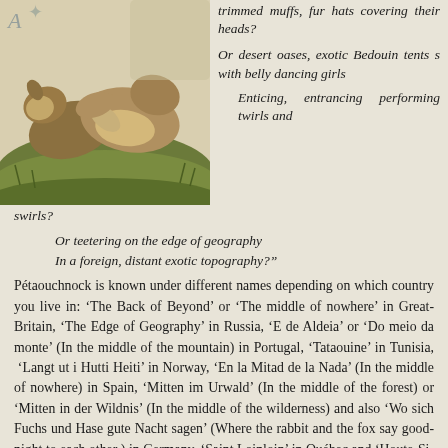[Figure (illustration): Watercolor illustration of squirrels or similar animals on grass, with green and brown tones]
trimmed muffs, fur hats covering their heads?

Or desert oases, exotic Bedouin tents s with belly dancing girls

Enticing, entrancing performing twirls and

swirls?
Or teetering on the edge of geography
In a foreign, distant exotic topography?"
Pétaouchnock is known under different names depending on which country you live in: 'The Back of Beyond' or 'The middle of nowhere' in Great-Britain, 'The Edge of Geography' in Russia, 'E de Aldeia' or 'Do meio da monte' (In the middle of the mountain) in Portugal, 'Tataouine' in Tunisia,  'Langt ut i Hutti Heiti' in Norway, 'En la Mitad de la Nada' (In the middle of nowhere) in Spain, 'Mitten im Urwald' (In the middle of the forest) or 'Mitten in der Wildnis' (In the middle of the wilderness) and also 'Wo sich Fuchs und Hase gute Nacht sagen' (Where the rabbit and the fox say good-night to each other ) in Germany, 'Saint Loinloin' in Québec and 'Houte-Si-Plou' (among others!) in